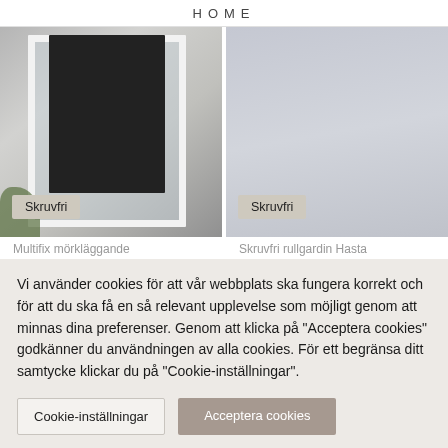HOME
[Figure (photo): Dark black roller blind mounted on a white window frame in a grey room, with plants visible. A beige tag labeled 'Skruvfri' is overlaid at the bottom left.]
[Figure (photo): Light grey/blue wall blind covering a window in a minimalist room. A beige tag labeled 'Skruvfri' is overlaid at the bottom left.]
Multifix mörkläggande
Skruvfri rullgardin Hasta
Vi använder cookies för att vår webbplats ska fungera korrekt och för att du ska få en så relevant upplevelse som möjligt genom att minnas dina preferenser. Genom att klicka på "Acceptera cookies" godkänner du användningen av alla cookies. För ett begränsa ditt samtycke klickar du på "Cookie-inställningar".
Cookie-inställningar
Acceptera cookies